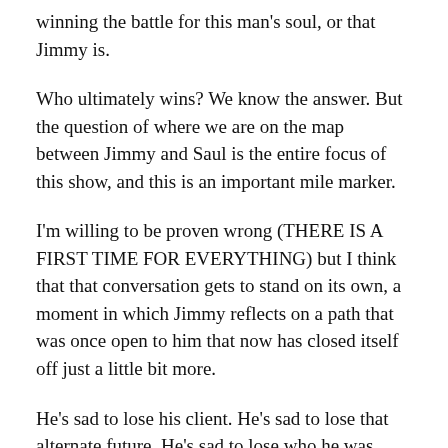winning the battle for this man's soul, or that Jimmy is.
Who ultimately wins? We know the answer. But the question of where we are on the map between Jimmy and Saul is the entire focus of this show, and this is an important mile marker.
I'm willing to be proven wrong (THERE IS A FIRST TIME FOR EVERYTHING) but I think that that conversation gets to stand on its own, a moment in which Jimmy reflects on a path that was once open to him that now has closed itself off just a little bit more.
He's sad to lose his client. He's sad to lose that alternate future. He's sad to lose who he was when he helped — he actually helped — a group of defrauded senior citizens get what was rightfully